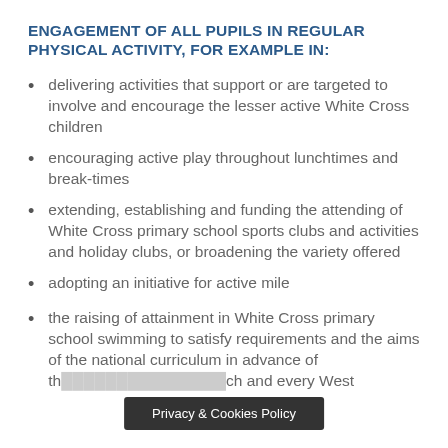ENGAGEMENT OF ALL PUPILS IN REGULAR PHYSICAL ACTIVITY, FOR EXAMPLE IN:
delivering activities that support or are targeted to involve and encourage the lesser active White Cross children
encouraging active play throughout lunchtimes and break-times
extending, establishing and funding the attending of White Cross primary school sports clubs and activities and holiday clubs, or broadening the variety offered
adopting an initiative for active mile
the raising of attainment in White Cross primary school swimming to satisfy requirements and the aims of the national curriculum in advance of th… …ch and every West
Privacy & Cookies Policy